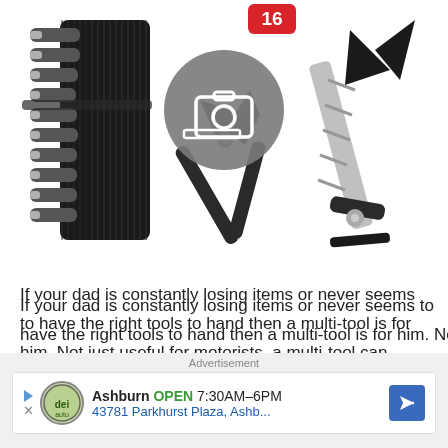[Figure (photo): Product image showing a multi-tool with black nylon pouch containing bit attachments on the left, and an open multi-tool pliers/knife tool on the right. A camera icon badge with notification number '16' overlays the center of the image.]
If your dad is constantly losing items or never seems to have the right tools to hand then a multi-tool is for him. Not just useful for motorists, a multi-tool can benefit cyclists, hikers, and campers thanks to the range of useful attachments
Advertisement
Ashburn OPEN 7:30AM–6PM 43781 Parkhurst Plaza, Ashb...